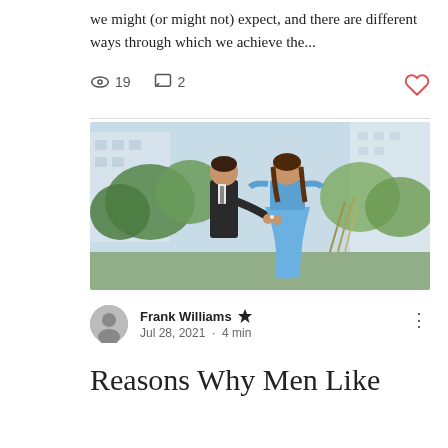we might (or might not) expect, and there are different ways through which we achieve the...
[Figure (other): Engagement photo: a man in a dark suit presenting a ring to a woman in a blue off-shoulder dress, outdoors with trees and buildings in the background]
Frank Williams · Jul 28, 2021 · 4 min
Reasons Why Men Like